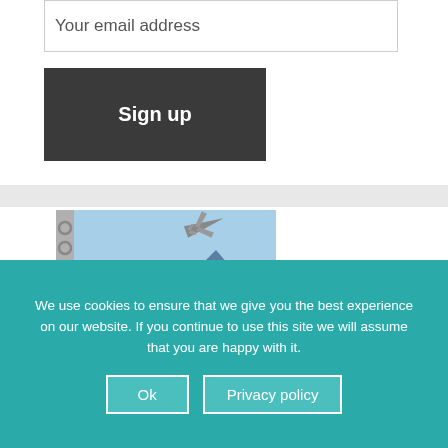Your email address
Sign up
[Figure (illustration): Book cover for 'Travel Basics! Become A Savvy Traveler!' with a spiral-bound notebook graphic, airplane silhouette, and mountain/water background]
We use cookies to ensure that we give you the best experience on our website. If you continue to use this site we will assume that you are happy with it.
Ok
Privacy policy